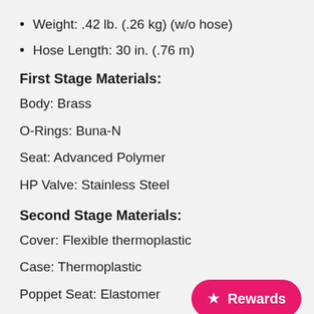Weight: .42 lb. (.26 kg) (w/o hose)
Hose Length: 30 in. (.76 m)
First Stage Materials:
Body: Brass
O-Rings: Buna-N
Seat: Advanced Polymer
HP Valve: Stainless Steel
Second Stage Materials:
Cover: Flexible thermoplastic
Case: Thermoplastic
Poppet Seat: Elastomer